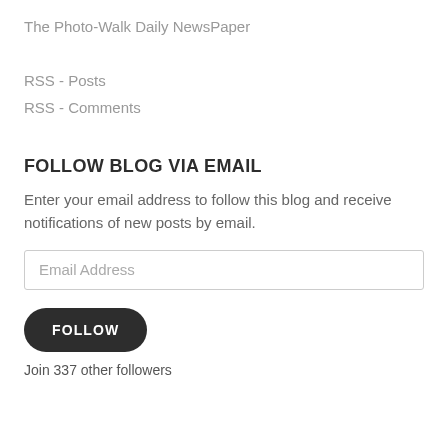The Photo-Walk Daily NewsPaper
RSS - Posts
RSS - Comments
FOLLOW BLOG VIA EMAIL
Enter your email address to follow this blog and receive notifications of new posts by email.
Email Address
FOLLOW
Join 337 other followers